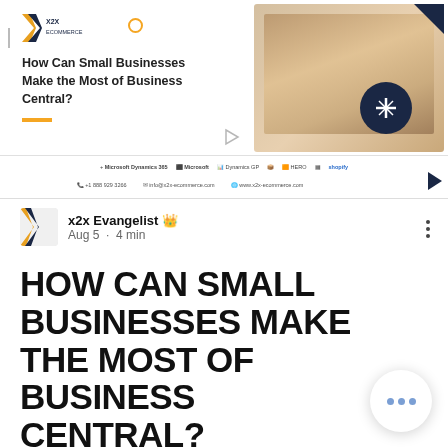[Figure (screenshot): x2x eCommerce blog post card showing 'How Can Small Businesses Make the Most of Business Central?' with logo, photo of people at laptop, Microsoft Business Central badge, partner logos bar, and contact info bar]
x2x Evangelist 👑
Aug 5 · 4 min
HOW CAN SMALL BUSINESSES MAKE THE MOST OF BUSINESS CENTRAL?